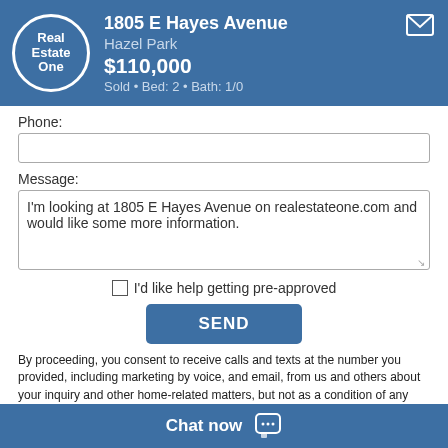1805 E Hayes Avenue, Hazel Park, $110,000, Sold • Bed: 2 • Bath: 1/0
Phone:
Message:
I'm looking at 1805 E Hayes Avenue on realestateone.com and would like some more information.
I'd like help getting pre-approved
SEND
By proceeding, you consent to receive calls and texts at the number you provided, including marketing by voice, and email, from us and others about your inquiry and other home-related matters, but not as a condition of any purchase. You also agree to our Privacy Policy regarding the information relating to you. Msg/data rates may apply.
Listing Broker
Chat now